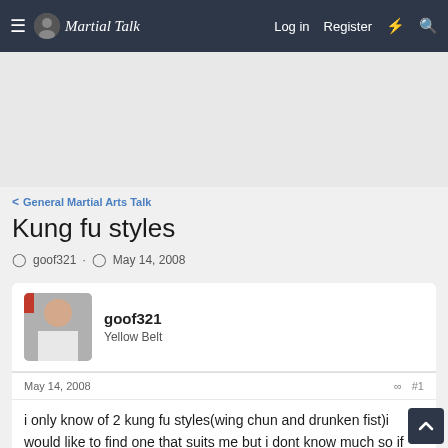Martial Talk — Log in · Register
[Figure (other): Advertisement banner area (gray background)]
< General Martial Arts Talk
Kung fu styles
goof321 · May 14, 2008
goof321
Yellow Belt
May 14, 2008  #1
i only know of 2 kung fu styles(wing chun and drunken fist)i would like to find one that suits me but i dont know much so if everyone could give me a perspective of youre favorite style